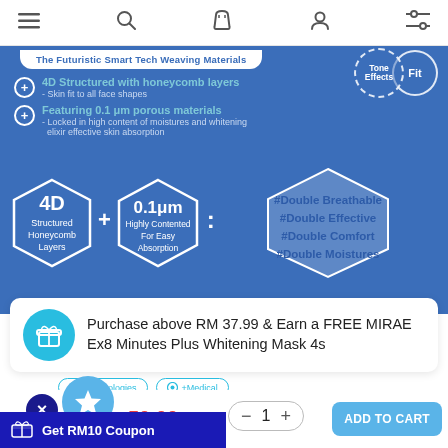Navigation header with menu, search, cart, account, and filter icons
[Figure (infographic): Blue panel showing product features: '4D Structured with honeycomb layers - Skin fit to all face shapes' and 'Featuring 0.1 μm porous materials - Locked in high content of moistures and whitening elixir effective skin absorption'. Hexagon graphics showing 4D Structured Honeycomb Layers + 0.1μm Highly Contented For Easy Absorption : #Double Breathable #Double Effective #Double Comfort #Double Moistures. Top right shows two overlapping circles labeled 'Effects' and 'Fit'. Top bar text: 'The Futuristic Smart Tech Weaving Materials']
Purchase above RM 37.99 & Earn a FREE MIRAE Ex8 Minutes Plus Whitening Mask 4s
+Technologies  +Medical
50.00
1
ADD TO CART
Get RM10 Coupon